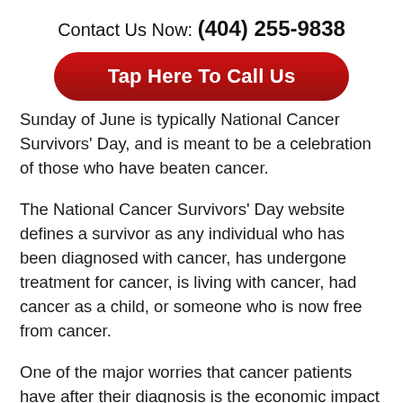Contact Us Now: (404) 255-9838
Tap Here To Call Us
Sunday of June is typically National Cancer Survivors' Day, and is meant to be a celebration of those who have beaten cancer.
The National Cancer Survivors' Day website defines a survivor as any individual who has been diagnosed with cancer, has undergone treatment for cancer, is living with cancer, had cancer as a child, or someone who is now free from cancer.
One of the major worries that cancer patients have after their diagnosis is the economic impact of the disease. According to some estimates, the total healthcare cost to Americans from cancer every year is as high as $80 billion.  However, it is not just medical costs that can cripple a person